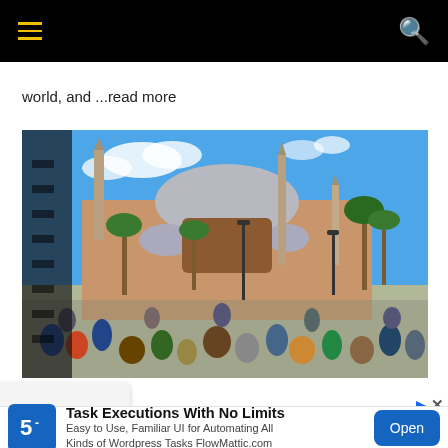Navigation bar with hamburger menu and search icon
world, and ...read more
[Figure (photo): Outdoor photo of Hagia Sophia in Istanbul with crowds of tourists in the foreground, palm trees, minarets, and blue sky with clouds.]
Task Executions With No Limits
Easy to Use, Familiar UI for Automating All Kinds of Wordpress Tasks FlowMattic.com